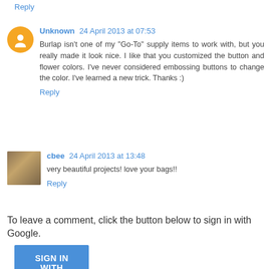Reply
Unknown 24 April 2013 at 07:53
Burlap isn't one of my "Go-To" supply items to work with, but you really made it look nice. I like that you customized the button and flower colors. I've never considered embossing buttons to change the color. I've learned a new trick. Thanks :)
Reply
cbee 24 April 2013 at 13:48
very beautiful projects! love your bags!!
Reply
To leave a comment, click the button below to sign in with Google.
SIGN IN WITH GOOGLE